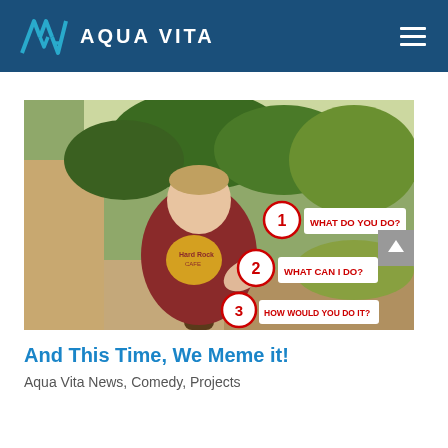AQUA VITA
[Figure (photo): A young man in a Hard Rock Cafe t-shirt standing outdoors in front of trees, with three numbered callout bubbles overlaid: 1. WHAT DO YOU DO? 2. WHAT CAN I DO? 3. HOW WOULD YOU DO IT?]
And This Time, We Meme it!
Aqua Vita News, Comedy, Projects